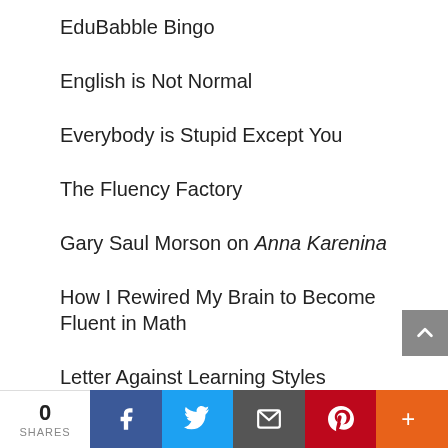EduBabble Bingo
English is Not Normal
Everybody is Stupid Except You
The Fluency Factory
Gary Saul Morson on Anna Karenina
How I Rewired My Brain to Become Fluent in Math
Letter Against Learning Styles
Mercedes Schneider's EduBlog
MIT Admissions Blog
0 SHARES | Facebook | Twitter | Email | Pinterest | More